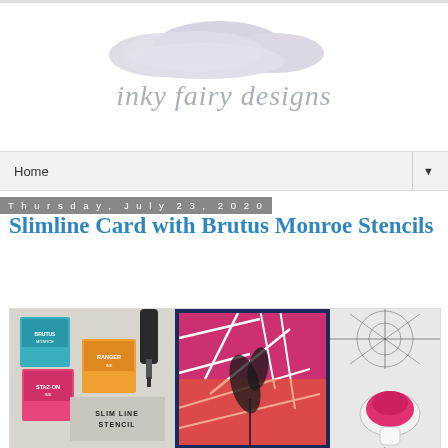[Figure (logo): Inky Fairy Designs blog logo with watercolor cloud/splash graphic above the cursive text 'inky fairy designs' in light gray-blue script]
Home ▼
Thursday, July 23, 2020
Slimline Card with Brutus Monroe Stencils
[Figure (photo): Flat lay photo showing Brutus Monroe slim line stencil products including ink cubes in pink, orange, and teal, a slim line stencil, a finished slimline card with geometric design and flower silhouette on pink/orange background, and a pink ink blending applicator on white surface]